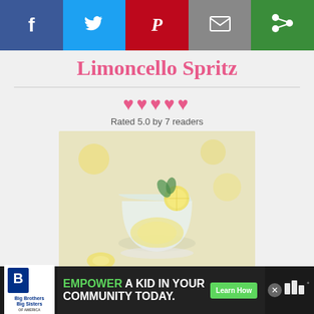[Figure (infographic): Social share bar with Facebook, Twitter, Pinterest, Email, and another share button]
Limoncello Spritz
♥♥♥♥♥
Rated 5.0 by 7 readers
[Figure (photo): Photo of Limoncello Spritz cocktail drink in a frosted glass with lemon slices and mint garnish]
[Figure (other): Print button circle icon]
PRINT
Prep Time: 3 min
Cook Time: 0 min
Ready in: 3 min
Scroll
to
top
[Figure (infographic): Advertisement banner: Big Brothers Big Sisters - EMPOWER A KID IN YOUR COMMUNITY TODAY with Learn How button]